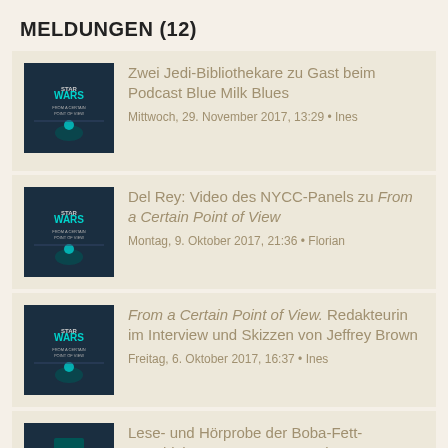MELDUNGEN (12)
Zwei Jedi-Bibliothekare zu Gast beim Podcast Blue Milk Blues
Mittwoch, 29. November 2017, 13:29 • Ines
Del Rey: Video des NYCC-Panels zu From a Certain Point of View
Montag, 9. Oktober 2017, 21:36 • Florian
From a Certain Point of View. Redakteurin im Interview und Skizzen von Jeffrey Brown
Freitag, 6. Oktober 2017, 16:37 • Ines
Lese- und Hörprobe der Boba-Fett-Geschichte aus From a Certain Point of View